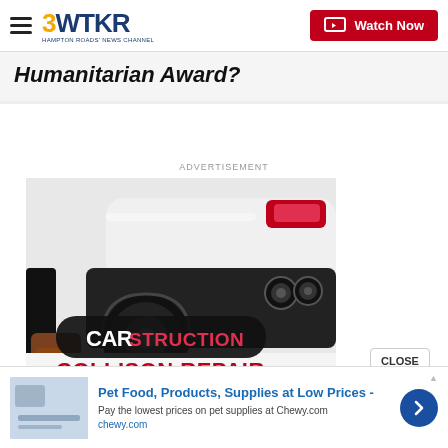3WTKR — Watch Now
Humanitarian Award?
ADVERTISEMENT
[Figure (photo): Car collision repair advertisement showing a sports car's rear wheel, tire and exhaust pipes, with a person's feet visible. Text overlay reads: CARSTRUCTION COLLISON REPAIR]
[Figure (photo): Bottom banner ad for Chewy.com: Pet Food, Products, Supplies at Low Prices. Pay the lowest prices on pet supplies at Chewy.com. chewy.com]